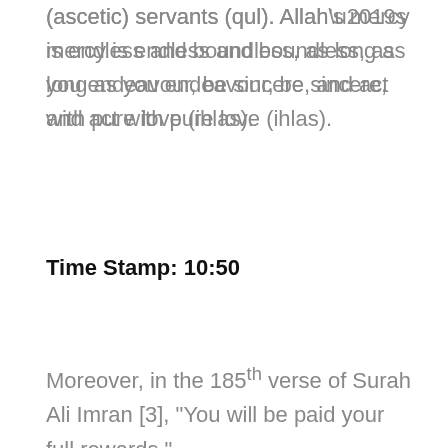(ascetic) servants (qul). Allah’s mercy is endless and boundless, as long as you endeavour, be sincere, and act with pure love (ihlas).
Time Stamp: 10:50
Moreover, in the 185th verse of Surah Ali Imran [3], “You will be paid your full rewards.”